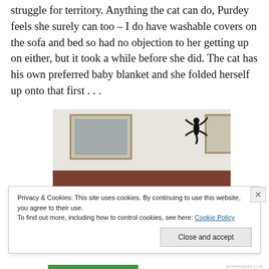struggle for territory. Anything the cat can do, Purdey feels she surely can too – I do have washable covers on the sofa and bed so had no objection to her getting up on either, but it took a while before she did. The cat has his own preferred baby blanket and she folded herself up onto that first . . .
[Figure (photo): Indoor room photo showing a white wall with two framed pictures/artwork and a black gecko decoration on the wall. The bottom portion shows a brown sofa or bed.]
Privacy & Cookies: This site uses cookies. By continuing to use this website, you agree to their use.
To find out more, including how to control cookies, see here: Cookie Policy
Close and accept